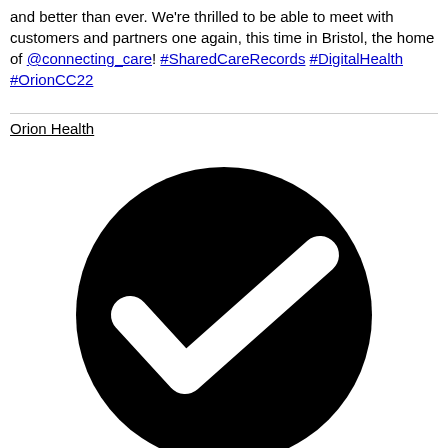and better than ever. We're thrilled to be able to meet with customers and partners one again, this time in Bristol, the home of @connecting_care! #SharedCareRecords #DigitalHealth #OrionCC22
Orion Health
[Figure (illustration): A large black circle containing a white checkmark/tick symbol in the center]